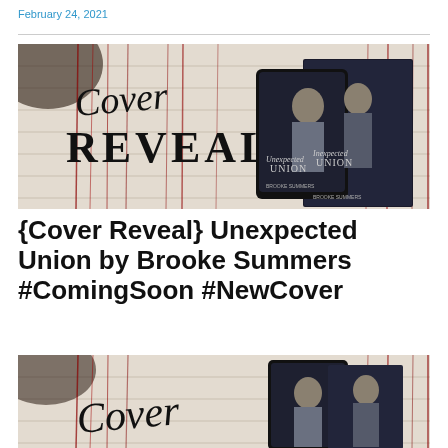February 24, 2021
[Figure (illustration): Cover Reveal promotional banner for 'Unexpected Union' by Brooke Summers, showing two dark romance book covers (ebook and physical) against a distressed white wood background with red streaks, with 'Cover REVEAL' text in stylized script and serif lettering]
{Cover Reveal} Unexpected Union by Brooke Summers #ComingSoon #NewCover
[Figure (illustration): Second instance of the same Cover Reveal promotional banner, partially visible showing the top portion with the distressed background and 'Cover' script text, and the book covers on the right side]